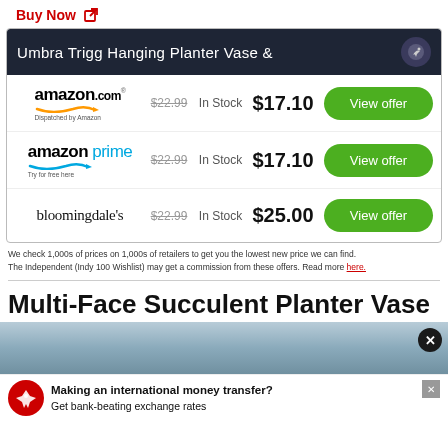Buy Now
| Retailer | Original Price | Availability | Price | Action |
| --- | --- | --- | --- | --- |
| amazon.com Dispatched by Amazon | $22.99 | In Stock | $17.10 | View offer |
| amazon prime Try for free here | $22.99 | In Stock | $17.10 | View offer |
| bloomingdale's | $22.99 | In Stock | $25.00 | View offer |
We check 1,000s of prices on 1,000s of retailers to get you the lowest new price we can find. The Independent (Indy 100 Wishlist) may get a commission from these offers. Read more here.
Multi-Face Succulent Planter Vase
[Figure (screenshot): Bottom portion showing a cloudy sky image and an advertisement bar for international money transfer with a red eagle logo]
Making an international money transfer? Get bank-beating exchange rates